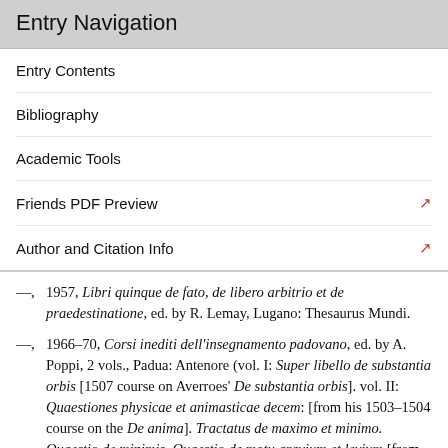Entry Navigation
Entry Contents
Bibliography
Academic Tools
Friends PDF Preview
Author and Citation Info
—, 1957, Libri quinque de fato, de libero arbitrio et de praedestinatione, ed. by R. Lemay, Lugano: Thesaurus Mundi.
—, 1966–70, Corsi inediti dell'insegnamento padovano, ed. by A. Poppi, 2 vols., Padua: Antenore (vol. I: Super libello de substantia orbis [1507 course on Averroes' De substantia orbis]. vol. II: Quaestiones physicae et animasticae decem: [from his 1503–1504 course on the De anima]. Tractatus de maximo et minimo. Quaestio de minimis, Quaestio de motu gravium et levium [from his course on the Physica